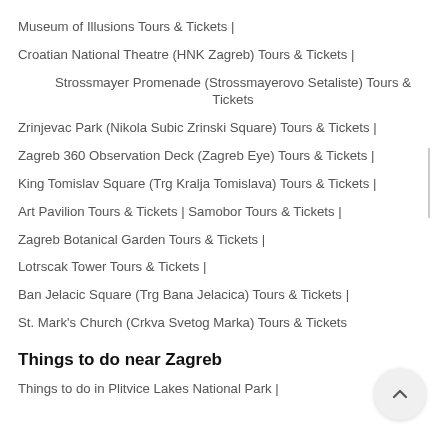Museum of Illusions Tours & Tickets |
Croatian National Theatre (HNK Zagreb) Tours & Tickets |
Strossmayer Promenade (Strossmayerovo Setaliste) Tours & Tickets
Zrinjevac Park (Nikola Subic Zrinski Square) Tours & Tickets |
Zagreb 360 Observation Deck (Zagreb Eye) Tours & Tickets |
King Tomislav Square (Trg Kralja Tomislava) Tours & Tickets |
Art Pavilion Tours & Tickets | Samobor Tours & Tickets |
Zagreb Botanical Garden Tours & Tickets |
Lotrscak Tower Tours & Tickets |
Ban Jelacic Square (Trg Bana Jelacica) Tours & Tickets |
St. Mark's Church (Crkva Svetog Marka) Tours & Tickets
Things to do near Zagreb
Things to do in Plitvice Lakes National Park |